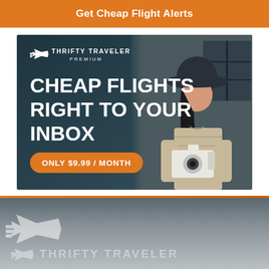Get Cheap Flight Alerts
[Figure (advertisement): Thrifty Traveler Premium advertisement banner showing a woman with a camera and hat against a dark teal background. Text reads: CHEAP FLIGHTS RIGHT TO YOUR INBOX. ONLY $9.99 / MONTH]
[Figure (logo): Thrifty Traveler logo with airplane icon on a grey gradient background footer]